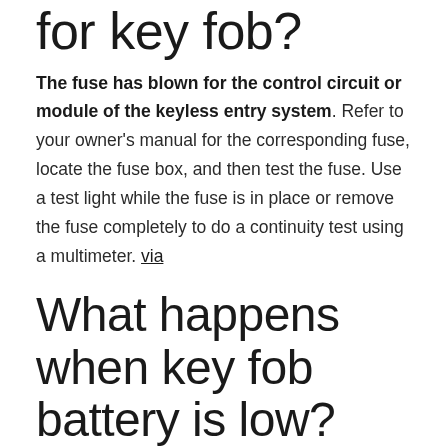for key fob?
The fuse has blown for the control circuit or module of the keyless entry system. Refer to your owner's manual for the corresponding fuse, locate the fuse box, and then test the fuse. Use a test light while the fuse is in place or remove the fuse completely to do a continuity test using a multimeter. via
What happens when key fob battery is low?